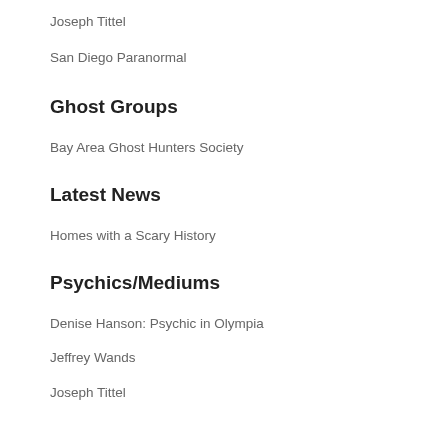Joseph Tittel
San Diego Paranormal
Ghost Groups
Bay Area Ghost Hunters Society
Latest News
Homes with a Scary History
Psychics/Mediums
Denise Hanson: Psychic in Olympia
Jeffrey Wands
Joseph Tittel
San Diego Paranormal
Recent Comments